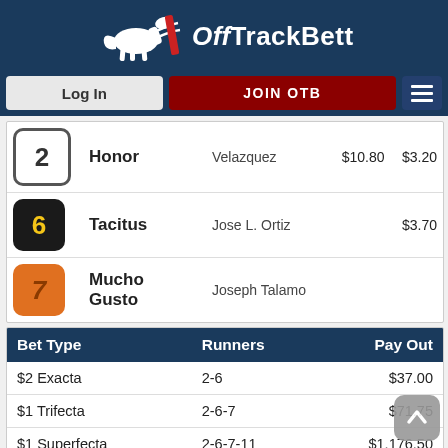[Figure (logo): OffTrackBetting logo with stylized horse and text]
Log In | JOIN OTB
|  | Horse | Jockey |  |  |
| --- | --- | --- | --- | --- |
| 2 | Honor | Velazquez | $10.80 | $3.20 |
| 6 | Tacitus | Jose L. Ortiz |  | $3.70 |
| 7 | Mucho Gusto | Joseph Talamo |  |  |
| Bet Type | Runners | Pay Out |
| --- | --- | --- |
| $2 Exacta | 2-6 | $37.00 |
| $1 Trifecta | 2-6-7 | $71.75 |
| $1 Superfecta | 2-6-7-11 | $1,176.50 |
| $2 Daily Double | 7/2 | $43... |
| $2 Pick 3 | 1/7/2 | $127.00 |